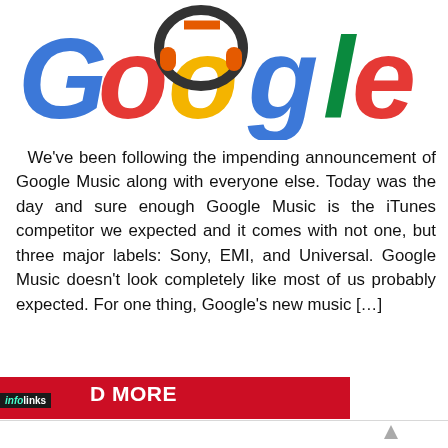[Figure (logo): Google logo with orange headphones overlaid on the two O letters, in the classic Google multicolor style (blue G, red o, yellow o with headphones, blue g, green l, red e)]
We've been following the impending announcement of Google Music along with everyone else. Today was the day and sure enough Google Music is the iTunes competitor we expected and it comes with not one, but three major labels: Sony, EMI, and Universal. Google Music doesn't look completely like most of us probably expected. For one thing, Google's new music […]
infolinks
D MORE
Top Junior Gold Mining Stock
Get access to the next top mining "Micro Cap" here!
www.rivres.com